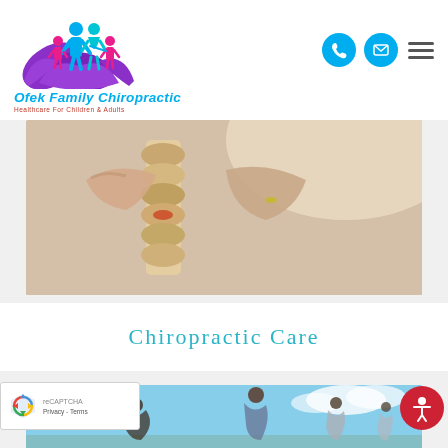[Figure (logo): Ofek Family Chiropractic logo with family silhouette and purple hands]
Ofek Family Chiropractic
Healthcare For Children & Adults
[Figure (photo): Close-up of doctor's hands holding a spine vertebrae model]
Chiropractic Care
[Figure (photo): Active family running outdoors under blue sky]
[Figure (other): reCAPTCHA widget with Google logo]
Privacy - Terms
[Figure (other): Accessibility icon button (red circle with person symbol)]